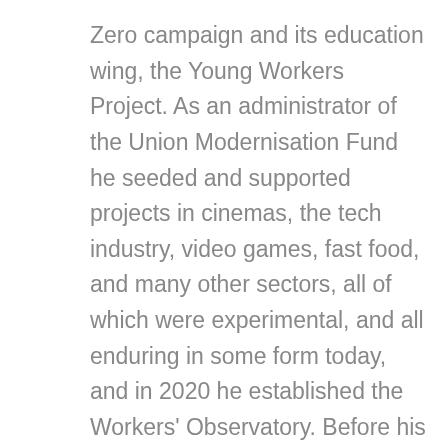Zero campaign and its education wing, the Young Workers Project. As an administrator of the Union Modernisation Fund he seeded and supported projects in cinemas, the tech industry, video games, fast food, and many other sectors, all of which were experimental, and all enduring in some form today, and in 2020 he established the Workers' Observatory. Before his union work he worked for Yes Scotland. He is also a historian of political thought and of labour.